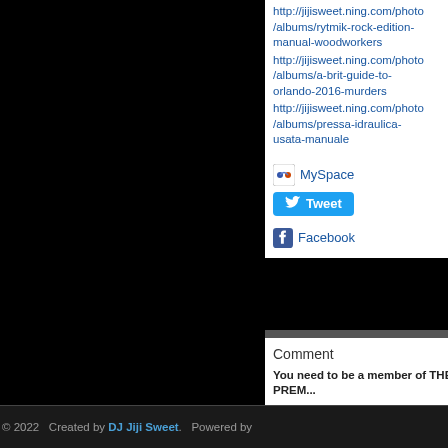http://jijisweet.ning.com/photo/albums/rytmik-rock-edition-manual-woodworkers http://jijisweet.ning.com/photo/albums/a-brit-guide-to-orlando-2016-murders http://jijisweet.ning.com/photo/albums/pressa-idraulica-usata-manuale
[Figure (other): MySpace share button with icon]
[Figure (other): Tweet button with Twitter bird icon]
[Figure (other): Facebook share link with Facebook icon]
Comment
You need to be a member of THE PREM...
Join THE PREMIER FEMALE DJ C...
© 2022   Created by DJ Jiji Sweet.   Powered by